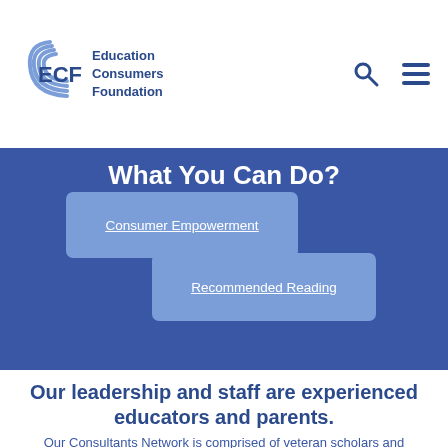ECF Education Consumers Foundation
What You Can Do?
Consumer Empowerment
Recommended Reading
Our leadership and staff are experienced educators and parents.
Our Consultants Network is comprised of veteran scholars and researchers.